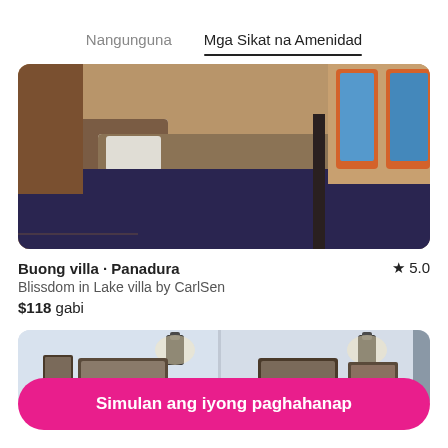Nangunguna	Mga Sikat na Amenidad
[Figure (photo): Bedroom interior with two beds with white and brown linens on a red platform frame, dark rug on floor, orange-framed windows in background]
Buong villa · Panadura
★ 5.0
Blissdom in Lake villa by CarlSen
$118 gabi
[Figure (photo): Interior room with wall sconce lights and framed pictures on white wall]
Simulan ang iyong paghahanap